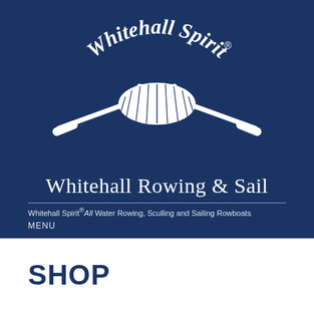[Figure (logo): Whitehall Spirit logo with crossed oars and boat hull graphic, text arched above reading 'Whitehall Spirit®' and below reading 'ALL WATER ROWING', on navy blue background]
Whitehall Rowing & Sail
Whitehall Spirit® All Water Rowing, Sculling and Sailing Rowboats
MENU
SHOP